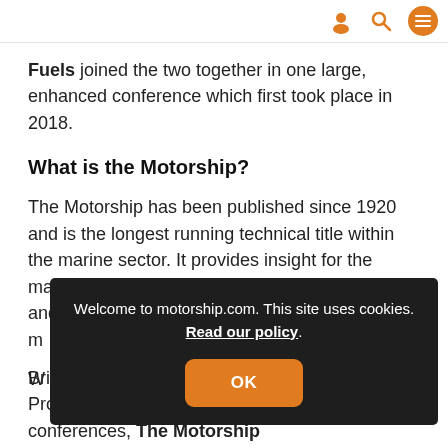[navigation icons: user, search, menu]
Fuels joined the two together in one large, enhanced conference which first took place in 2018.
What is the Motorship?
The Motorship has been published since 1920 and is the longest running technical title within the marine sector. It provides insight for the marine technology professionals in print, online and through regular e-newsletters and social m[edia channels and through annual industry leading events un]der...
W[hat is...]
[Figure (screenshot): Cookie consent popup overlay on dark background: 'Welcome to motorship.com. This site uses cookies. Read our policy.' with an OK button.]
Bringing together the strength of The Motorship Propulsion & Emissions and Gas Fuelled Ships conferences, The Motorship